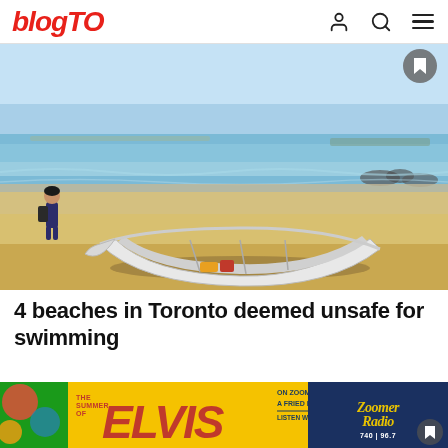blogTO
[Figure (photo): Beach scene with a white rowboat resting on sandy shore, Lake Ontario in background, a person with a backpack standing near the water's edge, rocks visible in the distance]
4 beaches in Toronto deemed unsafe for swimming
[Figure (photo): Advertisement banner: The Summer of ELVIS on Zoomer Radio is hotter than a fried peanut butter sandwich. Listen weekdays from 6 AM - 10 AM. Zoomer Radio 740 96.7]